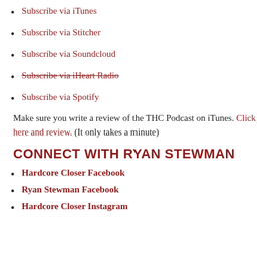Subscribe via iTunes
Subscribe via Stitcher
Subscribe via Soundcloud
Subscribe via iHeart Radio
Subscribe via Spotify
Make sure you write a review of the THC Podcast on iTunes. Click here and review. (It only takes a minute)
CONNECT WITH RYAN STEWMAN
Hardcore Closer Facebook
Ryan Stewman Facebook
Hardcore Closer Instagram